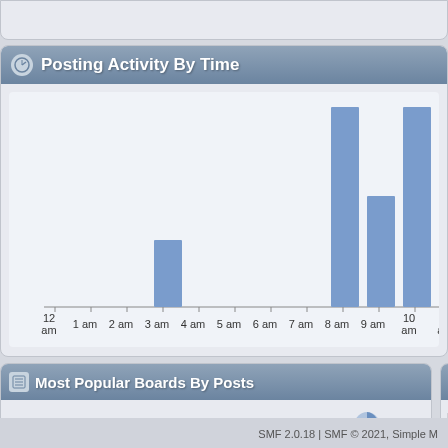Posting Activity By Time
[Figure (bar-chart): Posting Activity By Time]
Most Popular Boards By Posts
For Rent in New Paltz   15
For Rent Outside New Paltz   2
Mos
For Ren
For Ren
SMF 2.0.18 | SMF © 2021, Simple M